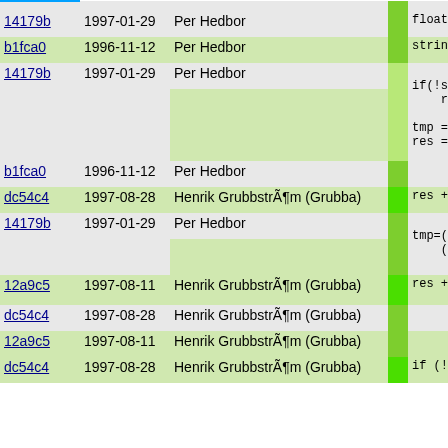| hash | date | author |  | code |
| --- | --- | --- | --- | --- |
| 14179b | 1997-01-29 | Per Hedbor |  | float tm |
| b1fca0 | 1996-11-12 | Per Hedbor |  | string r |
| 14179b | 1997-01-29 | Per Hedbor |  | if(!sent
    return

tmp = (s
res = sp |
| b1fca0 | 1996-11-12 | Per Hedbor |  |  |
| dc54c4 | 1997-08-28 | Henrik GrubbstrÃ¶m (Grubba) |  | res += s |
| 14179b | 1997-01-29 | Per Hedbor |  | tmp=(((f
    (fl |
| 12a9c5 | 1997-08-11 | Henrik GrubbstrÃ¶m (Grubba) |  | res += s |
| dc54c4 | 1997-08-28 | Henrik GrubbstrÃ¶m (Grubba) |  |  |
| 12a9c5 | 1997-08-11 | Henrik GrubbstrÃ¶m (Grubba) |  |  |
| dc54c4 | 1997-08-28 | Henrik GrubbstrÃ¶m (Grubba) |  | if (!zer |